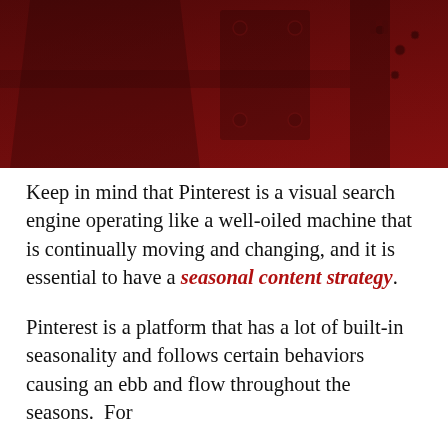[Figure (photo): Dark red/maroon toned photo of industrial or mechanical equipment, showing metal parts, bolts, and structural components with a dark overlay.]
Keep in mind that Pinterest is a visual search engine operating like a well-oiled machine that is continually moving and changing, and it is essential to have a seasonal content strategy.
Pinterest is a platform that has a lot of built-in seasonality and follows certain behaviors causing an ebb and flow throughout the seasons.  For